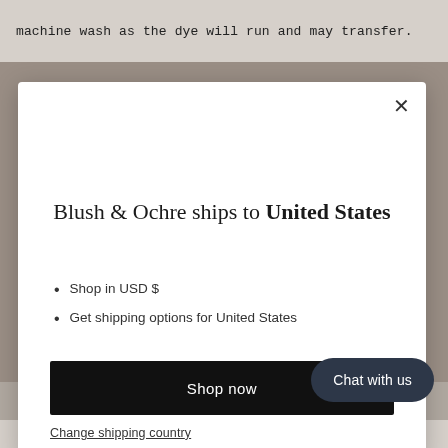machine wash as the dye will run and may transfer.
[Figure (screenshot): Modal dialog overlay on a website for Blush & Ochre showing shipping destination, currency options, and a Shop now button.]
Blush & Ochre ships to United States
Shop in USD $
Get shipping options for United States
Shop now
Change shipping country
Chat with us